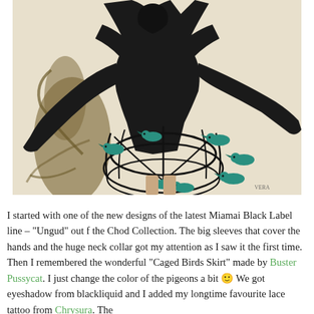[Figure (photo): A 3D rendered avatar/character in a black lace outfit with large sleeves and collar, posing dynamically. Around the character's lower body is a spherical cage-like skirt structure with multiple teal/turquoise birds perched on it. The background is a light beige/cream color with a dark shadow silhouette on the left side.]
I started with one of the new designs of the latest Miamai Black Label line – "Ungud" out f the Chod Collection. The big sleeves that cover the hands and the huge neck collar got my attention as I saw it the first time. Then I remembered the wonderful "Caged Birds Skirt" made by Buster Pussycat. I just change the color of the pigeons a bit 🙂 We got eyeshadow from blackliquid and I added my longtime favourite lace tattoo from Chrysura. The